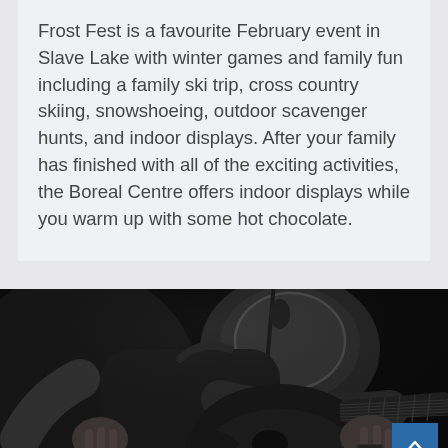Frost Fest is a favourite February event in Slave Lake with winter games and family fun including a family ski trip, cross country skiing, snowshoeing, outdoor scavenger hunts, and indoor displays. After your family has finished with all of the exciting activities, the Boreal Centre offers indoor displays while you warm up with some hot chocolate.
[Figure (photo): Black and white photograph of a person playing an electric guitar on stage, with a microphone visible in the background. The image is dark and moody, showing the guitarist's hands on the fretboard and body of the guitar.]